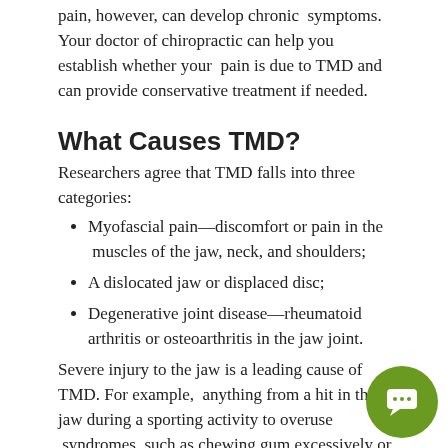pain, however, can develop chronic symptoms. Your doctor of chiropractic can help you establish whether your pain is due to TMD and can provide conservative treatment if needed.
What Causes TMD?
Researchers agree that TMD falls into three categories:
Myofascial pain—discomfort or pain in the muscles of the jaw, neck, and shoulders;
A dislocated jaw or displaced disc;
Degenerative joint disease—rheumatoid arthritis or osteoarthritis in the jaw joint.
Severe injury to the jaw is a leading cause of TMD. For example, anything from a hit in the jaw during a sporting activity to overuse syndromes, such as chewing gum excessively or chewing on one side of the mouth too frequently may cause TMD. Both physical and emotional stress can lead to TMD, as well. The once-common practice of sitting in a dentist's chair for several hours
[Figure (illustration): Green circular chat/message bubble button in the bottom-right corner]